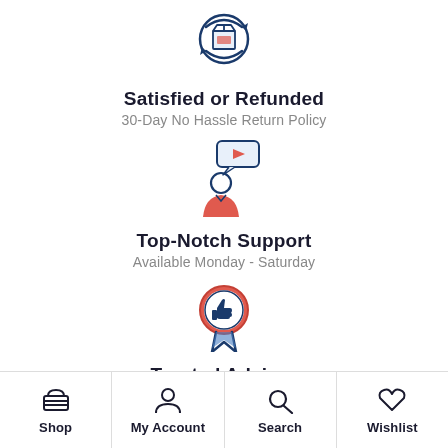[Figure (illustration): Icon of a package/box with circular arrows indicating return/refund]
Satisfied or Refunded
30-Day No Hassle Return Policy
[Figure (illustration): Icon of a customer support person with a speech bubble containing a left arrow]
Top-Notch Support
Available Monday - Saturday
[Figure (illustration): Icon of a thumbs up badge/medal with a ribbon]
Trusted Advisor
Over 15 Years Industry Experience
Shop   My Account   Search   Wishlist